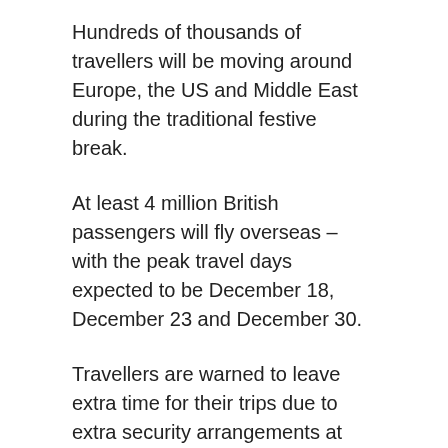Hundreds of thousands of travellers will be moving around Europe, the US and Middle East during the traditional festive break.
At least 4 million British passengers will fly overseas – with the peak travel days expected to be December 18, December 23 and December 30.
Travellers are warned to leave extra time for their trips due to extra security arrangements at airports in the wake of terrorist plots by the jihadist group Isis.
Many tourists will be heading for a winter break in France or Switzerland, where a massive